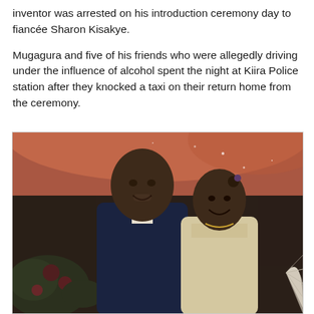inventor was arrested on his introduction ceremony day to fiancée Sharon Kisakye.
Mugagura and five of his friends who were allegedly driving under the influence of alcohol spent the night at Kiira Police station after they knocked a taxi on their return home from the ceremony.
[Figure (photo): A couple (man and woman) posing together at what appears to be an introduction ceremony. The man is wearing a dark navy suit and the woman is in a light-colored outfit with a hair accessory. There are flowers and orange/red draping in the background suggesting a decorated venue.]